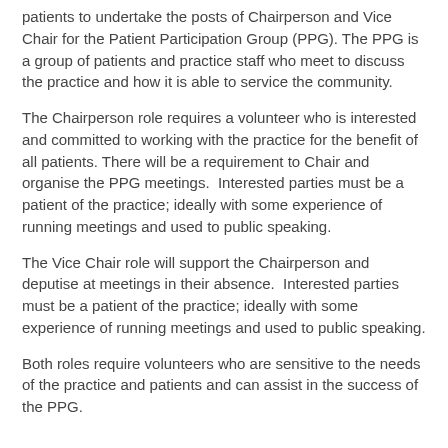patients to undertake the posts of Chairperson and Vice Chair for the Patient Participation Group (PPG). The PPG is a group of patients and practice staff who meet to discuss the practice and how it is able to service the community.
The Chairperson role requires a volunteer who is interested and committed to working with the practice for the benefit of all patients. There will be a requirement to Chair and organise the PPG meetings.  Interested parties must be a patient of the practice; ideally with some experience of running meetings and used to public speaking.
The Vice Chair role will support the Chairperson and deputise at meetings in their absence.  Interested parties must be a patient of the practice; ideally with some experience of running meetings and used to public speaking.
Both roles require volunteers who are sensitive to the needs of the practice and patients and can assist in the success of the PPG.